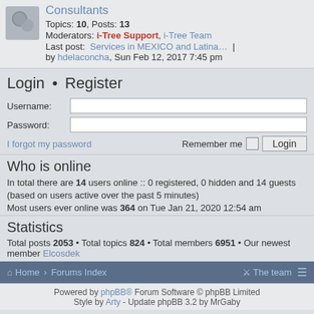Consultants
Topics: 10, Posts: 13
Moderators: i-Tree Support, i-Tree Team
Last post: Services in MEXICO and Latina… | by hdelaconcha, Sun Feb 12, 2017 7:45 pm
Login • Register
Username:
Password:
I forgot my password
Remember me  Login
Who is online
In total there are 14 users online :: 0 registered, 0 hidden and 14 guests (based on users active over the past 5 minutes)
Most users ever online was 364 on Tue Jan 21, 2020 12:54 am
Statistics
Total posts 2053 • Total topics 824 • Total members 6951 • Our newest member Elcosdek
Home › Forums Index   The team
Powered by phpBB® Forum Software © phpBB Limited
Style by Arty - Update phpBB 3.2 by MrGaby